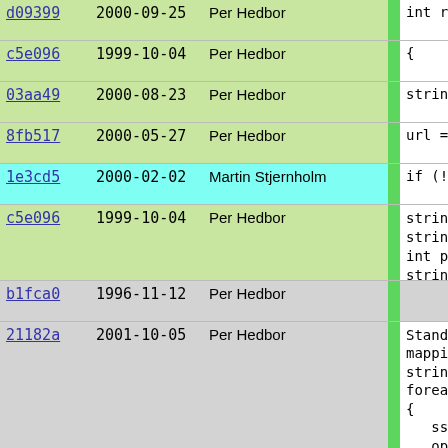| hash | date | author |  | code |
| --- | --- | --- | --- | --- |
| d09399 | 2000-09-25 | Per Hedbor |  | int regist |
| c5e096 | 1999-10-04 | Per Hedbor |  | { |
| 03aa49 | 2000-08-23 | Per Hedbor |  | string o |
| 8fb517 | 2000-05-27 | Per Hedbor |  | url = lo |
| 1e3cd5 | 2000-02-02 | Martin Stjernholm |  | if (!siz |
| c5e096 | 1999-10-04 | Per Hedbor |  | string p
string h
int port
string p |
| b1fca0 | 1996-11-12 | Per Hedbor |  |  |
| 21182a | 2001-10-05 | Per Hedbor |  | Standard
mapping
string a
foreach(
{
  sscanf
  opts[a
}
ui->frag
url = (s

if( (int
{
  report |